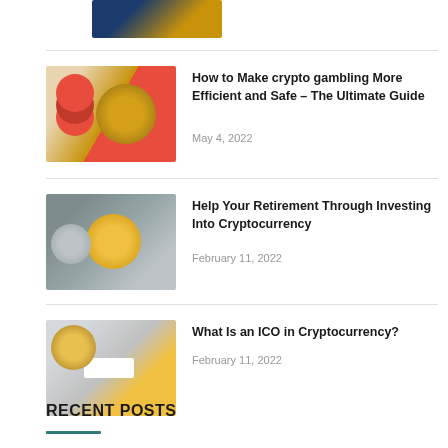[Figure (photo): Partial view of a cryptocurrency-themed image with coins at the top of the page]
[Figure (photo): Casino chips and a gold bitcoin coin on a green surface]
How to Make crypto gambling More Efficient and Safe – The Ultimate Guide
May 4, 2022
[Figure (photo): Silver and gold coins scattered on a dark background]
Help Your Retirement Through Investing Into Cryptocurrency
February 11, 2022
[Figure (photo): Gold and silver coins arranged around a white paper with 'cryptocurrency' text]
What Is an ICO in Cryptocurrency?
February 11, 2022
RECENT POSTS